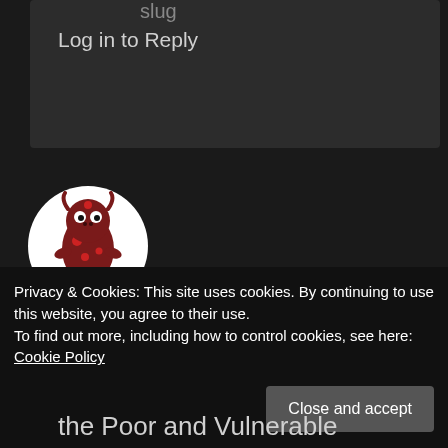slug
Log in to Reply
[Figure (illustration): Circular avatar image showing a cartoon character with dark red/maroon body, red spots, and green base on white background]
Humanity2012
10 years ago
the Poor and Vulnerable
Privacy & Cookies: This site uses cookies. By continuing to use this website, you agree to their use.
To find out more, including how to control cookies, see here: Cookie Policy
Close and accept